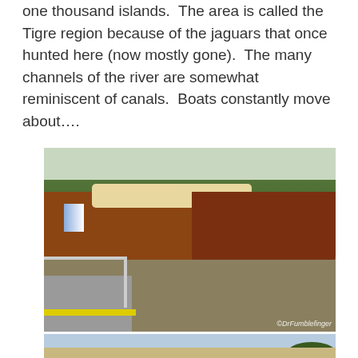one thousand islands.  The area is called the Tigre region because of the jaguars that once hunted here (now mostly gone).  The many channels of the river are somewhat reminiscent of canals.  Boats constantly move about….
[Figure (photo): Photo of boats on the Tigre river delta, Argentina. Foreground: a polished wooden boat named 'Jilguero IV' docked at a pier with a yellow stripe. Middle ground: a large white passenger ferry and another brown wooden boat. Background: lush green trees and calm brown river water. Watermark: ©DrFumblefinger]
[Figure (photo): Partial photo showing the top portion of another scene near the Tigre river, with blue sky, sparse trees on the right, and light-colored ground below.]